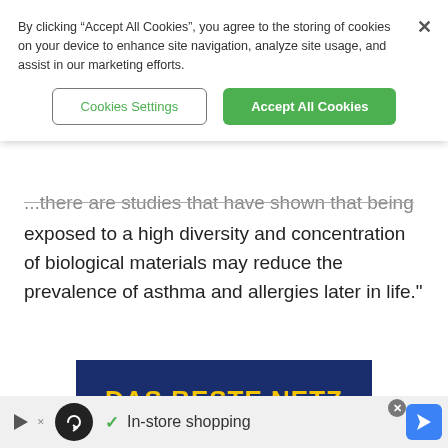By clicking "Accept All Cookies", you agree to the storing of cookies on your device to enhance site navigation, analyze site usage, and assist in our marketing efforts.
Cookies Settings
Accept All Cookies
...there are studies that have shown that being exposed to a high diversity and concentration of biological materials may reduce the prevalence of asthma and allergies later in life."
[Figure (screenshot): Advertisement banner with dark navy blue background showing bold yellow text 'DAS BESTE NETZ']
In-store shopping